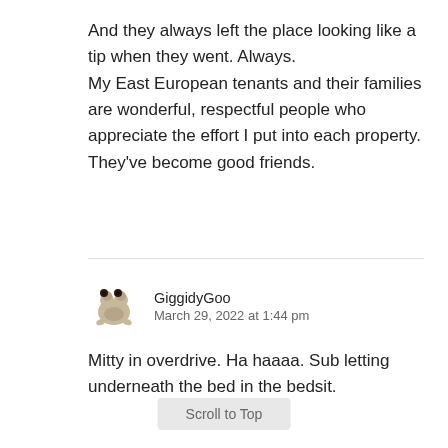And they always left the place looking like a tip when they went. Always.
My East European tenants and their families are wonderful, respectful people who appreciate the effort I put into each property.
They've become good friends.
[Figure (photo): Small avatar image of a cartoon/toy creature (appears to be a small animal figurine)]
GiggidyGoo
March 29, 2022 at 1:44 pm
Mitty in overdrive. Ha haaaa. Sub letting underneath the bed in the bedsit.
Scroll to Top